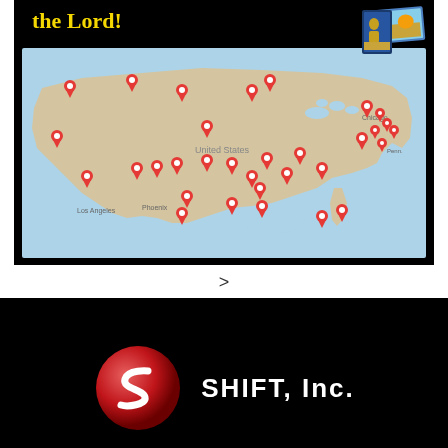[Figure (map): US map with red location pins scattered across the country, with yellow bold text 'the Lord!' in top left and a book/pamphlet image in top right corner]
>
[Figure (logo): SHIFT, Inc. logo on black background: red sphere with white S letter on left, white bold text 'SHIFT, Inc.' on right]